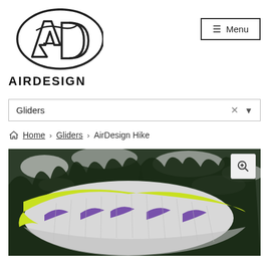[Figure (logo): AirDesign logo with stylized 'AD' letters in oval shape above bold AIRDESIGN text]
[Figure (screenshot): Menu button with hamburger icon and 'Menu' text in bordered button]
[Figure (screenshot): Dropdown selector showing 'Gliders' with X and chevron controls]
Home > Gliders > AirDesign Hike
[Figure (photo): Aerial photo of a yellow-green and white paraglider canopy with purple stripes over snow-covered forest]